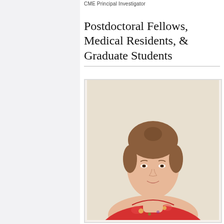CME Principal Investigator
Postdoctoral Fellows, Medical Residents, & Graduate Students
[Figure (photo): Portrait photograph of a young woman with reddish-brown hair pulled up in a bun, wearing a red floral patterned top, smiling slightly against a light beige/cream background.]